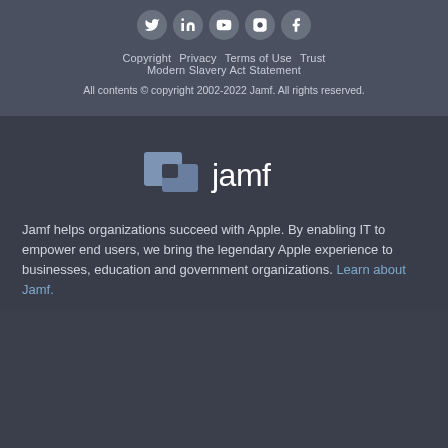[Figure (infographic): Social media icons (Twitter, LinkedIn, YouTube, Instagram, Facebook) in circular buttons]
Copyright  Privacy  Terms of Use  Trust  Modern Slavery Act Statement
All contents © copyright 2002-2022 Jamf. All rights reserved.
[Figure (logo): Jamf logo — stylized bird/paper icon in steel blue followed by 'jamf' wordmark in white]
Jamf helps organizations succeed with Apple. By enabling IT to empower end users, we bring the legendary Apple experience to businesses, education and government organizations. Learn about Jamf.